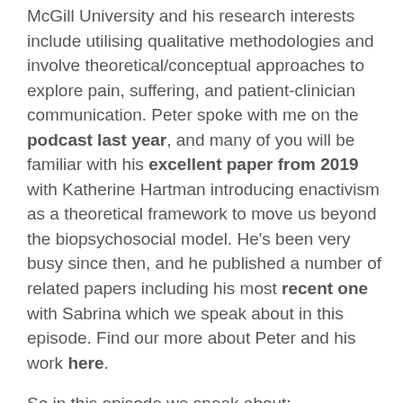McGill University and his research interests include utilising qualitative methodologies and involve theoretical/conceptual approaches to explore pain, suffering, and patient-clinician communication. Peter spoke with me on the podcast last year, and many of you will be familiar with his excellent paper from 2019 with Katherine Hartman introducing enactivism as a theoretical framework to move us beyond the biopsychosocial model. He’s been very busy since then, and he published a number of related papers including his most recent one with Sabrina which we speak about in this episode. Find our more about Peter and his work here.
So in this episode we speak about: